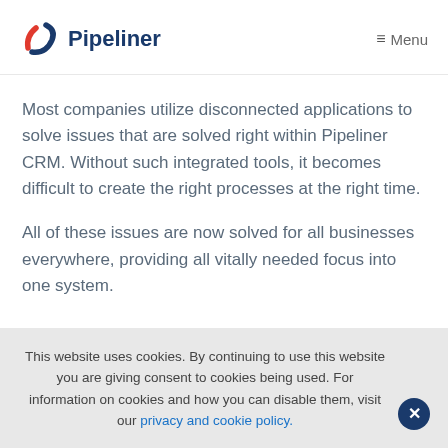Pipeliner  ≡Menu
Most companies utilize disconnected applications to solve issues that are solved right within Pipeliner CRM. Without such integrated tools, it becomes difficult to create the right processes at the right time.
All of these issues are now solved for all businesses everywhere, providing all vitally needed focus into one system.
This website uses cookies. By continuing to use this website you are giving consent to cookies being used. For information on cookies and how you can disable them, visit our privacy and cookie policy.